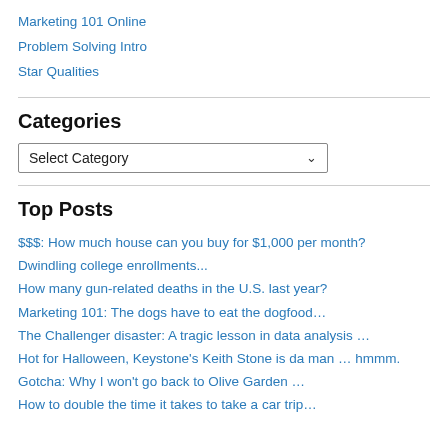Marketing 101 Online
Problem Solving Intro
Star Qualities
Categories
Select Category
Top Posts
$$$: How much house can you buy for $1,000 per month?
Dwindling college enrollments...
How many gun-related deaths in the U.S. last year?
Marketing 101: The dogs have to eat the dogfood…
The Challenger disaster: A tragic lesson in data analysis …
Hot for Halloween, Keystone's Keith Stone is da man … hmmm.
Gotcha: Why I won't go back to Olive Garden …
How to double the time it takes to take a car trip…